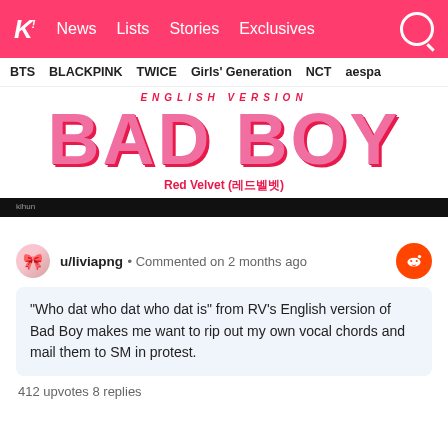k! News Lists Stories Exclusives
BTS BLACKPINK TWICE Girls' Generation NCT aespa
[Figure (illustration): Bad Boy - Red Velvet (레드벨벳) album/single cover art with large pink text reading 'BAD BOY' and subtitle text above, on white background, with a black bar below]
u/liviapng • Commented on 2 months ago
“Who dat who dat who dat is” from RV’s English version of Bad Boy makes me want to rip out my own vocal chords and mail them to SM in protest.
412 upvotes  8 replies